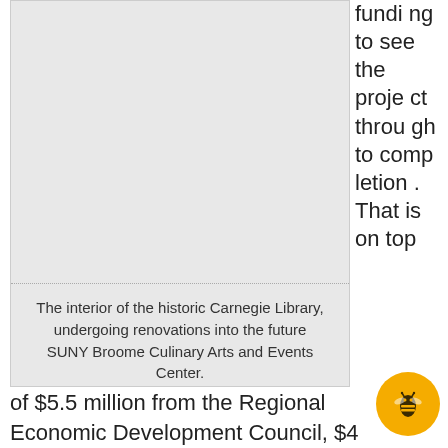[Figure (photo): Gray placeholder area representing the interior of the historic Carnegie Library undergoing renovations.]
The interior of the historic Carnegie Library, undergoing renovations into the future SUNY Broome Culinary Arts and Events Center.
funding to see the project through to completion. That is on top of $5.5 million from the Regional Economic Development Council, $4 million from SUNY, $4.8 million in New Market and Historic Tax